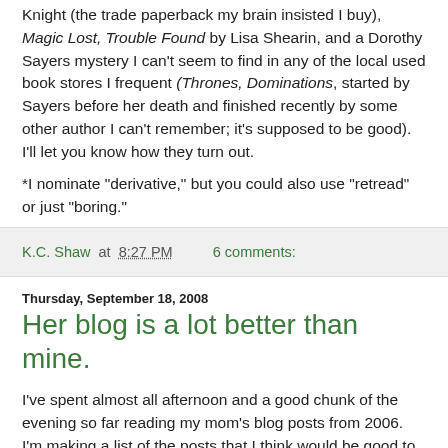Knight (the trade paperback my brain insisted I buy), Magic Lost, Trouble Found by Lisa Shearin, and a Dorothy Sayers mystery I can't seem to find in any of the local used book stores I frequent (Thrones, Dominations, started by Sayers before her death and finished recently by some other author I can't remember; it's supposed to be good). I'll let you know how they turn out.
*I nominate "derivative," but you could also use "retread" or just "boring."
K.C. Shaw at 8:27 PM    6 comments:
Thursday, September 18, 2008
Her blog is a lot better than mine.
I've spent almost all afternoon and a good chunk of the evening so far reading my mom's blog posts from 2006. I'm making a list of the posts that I think would be good to include in her next Lulu compilation, and so far it's almost all of them. For an excellent example (which made me giggle